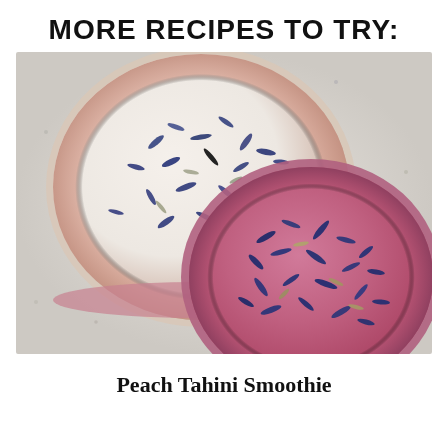MORE RECIPES TO TRY:
[Figure (photo): Overhead view of two pink smoothie bowls topped with blue and purple dried flower petals, placed on a light speckled marble surface. One bowl is mostly white with scattered flowers, the other is vivid pink fully covered with scattered blue cornflower petals.]
Peach Tahini Smoothie